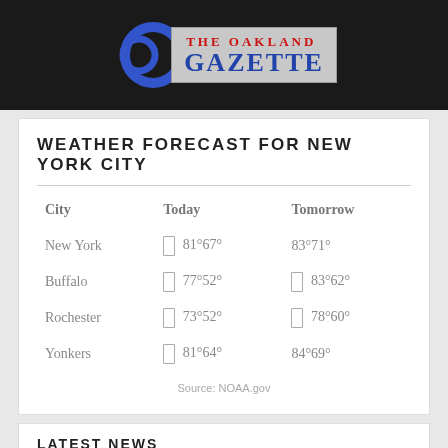[Figure (logo): The Oakland Gazette newspaper logo with blue circular graphic and text on grey background]
WEATHER FORECAST FOR NEW YORK CITY
| City | Today | Tomorrow |
| --- | --- | --- |
| New York | 81°67° | 83°71° |
| Buffalo | 77°52° | 83°62° |
| Rochester | 73°52° | 78°60° |
| Yonkers | 81°64° | 84°69° |
Source: NOAA.gov
LATEST NEWS